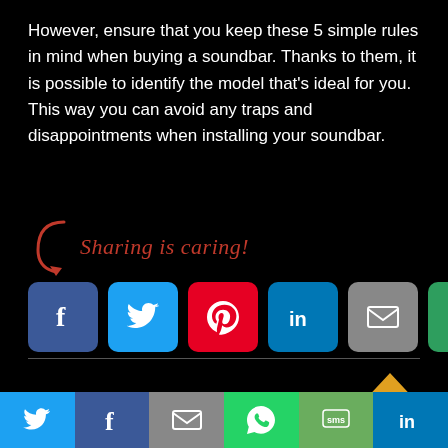However, ensure that you keep these 5 simple rules in mind when buying a soundbar. Thanks to them, it is possible to identify the model that’s ideal for you. This way you can avoid any traps and disappointments when installing your soundbar.
[Figure (infographic): Sharing is caring label with arrow and social share icons: Facebook, Twitter, Pinterest, LinkedIn, Email, and Socializer buttons]
[Figure (infographic): Facebook Like button (count 1) and small social share icons: Facebook, Twitter, Pinterest, WhatsApp, with an up-arrow scroll button]
[Figure (infographic): Bottom bar with social share icons: Twitter, Facebook, Email, WhatsApp, SMS, LinkedIn]